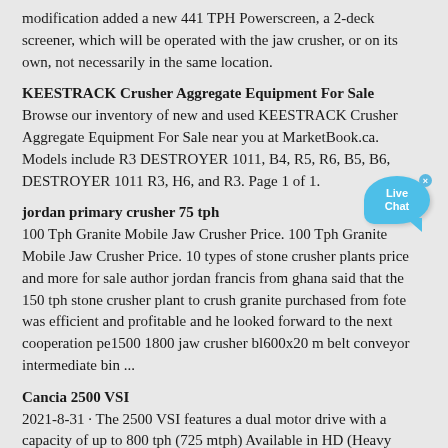modification added a new 441 TPH Powerscreen, a 2-deck screener, which will be operated with the jaw crusher, or on its own, not necessarily in the same location.
KEESTRACK Crusher Aggregate Equipment For Sale
Browse our inventory of new and used KEESTRACK Crusher Aggregate Equipment For Sale near you at MarketBook.ca. Models include R3 DESTROYER 1011, B4, R5, R6, B5, B6, DESTROYER 1011 R3, H6, and R3. Page 1 of 1.
jordan primary crusher 75 tph
100 Tph Granite Mobile Jaw Crusher Price. 100 Tph Granite Mobile Jaw Crusher Price. 10 types of stone crusher plants price and more for sale author jordan francis from ghana said that the 150 tph stone crusher plant to crush granite purchased from fote was efficient and profitable and he looked forward to the next cooperation pe1500 1800 jaw crusher bl600x20 m belt conveyor intermediate bin ...
Cancia 2500 VSI
2021-8-31 · The 2500 VSI features a dual motor drive with a capacity of up to 800 tph (725 mtph) Available in HD (Heavy Duty), and HDS (Heavy Duty Sand) configurations. Contact Us Sign Up Find a Dealer. Specifications. Downloads. Specification. Value. Max Feed Size. 10" / 255 mm.
Crushing & Screening Plants